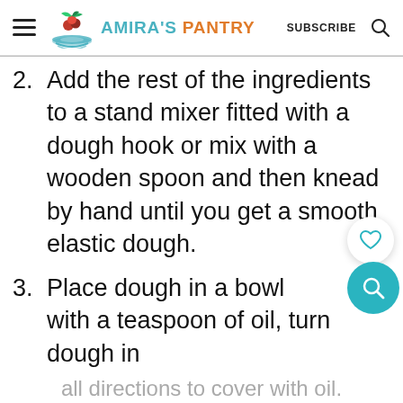Amira's Pantry — SUBSCRIBE
2. Add the rest of the ingredients to a stand mixer fitted with a dough hook or mix with a wooden spoon and then knead by hand until you get a smooth elastic dough.
3. Place dough in a bowl with a teaspoon of oil, turn dough in
all directions to cover with oil.